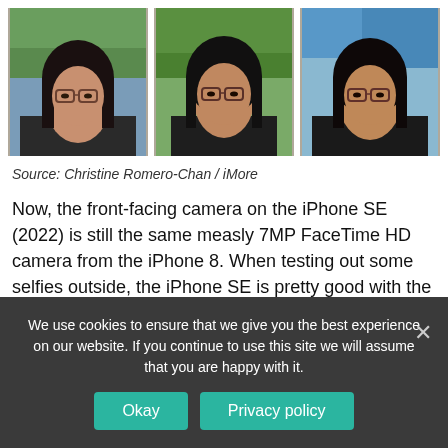[Figure (photo): Three portrait photos side by side of the same Asian woman with long dark hair and glasses, taken outdoors with trees/foliage in the background]
Source: Christine Romero-Chan / iMore
Now, the front-facing camera on the iPhone SE (2022) is still the same measly 7MP FaceTime HD camera from the iPhone 8. When testing out some selfies outside, the iPhone SE is pretty good with the color of my skin tone, but it washes
We use cookies to ensure that we give you the best experience on our website. If you continue to use this site we will assume that you are happy with it.